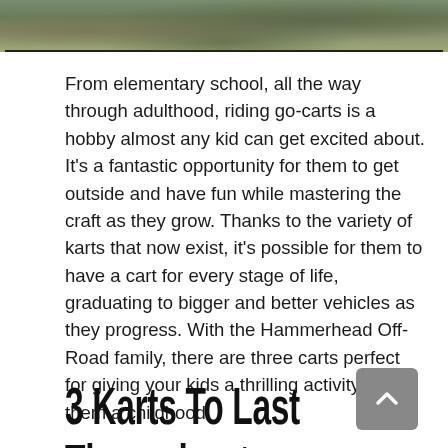[Figure (photo): Partial outdoor photo showing grass and vegetation, cropped to a horizontal strip at the top of the page.]
From elementary school, all the way through adulthood, riding go-carts is a hobby almost any kid can get excited about. It's a fantastic opportunity for them to get outside and have fun while mastering the craft as they grow. Thanks to the variety of karts that now exist, it's possible for them to have a cart for every stage of life, graduating to bigger and better vehicles as they progress. With the Hammerhead Off-Road family, there are three carts perfect for giving your kids a thrilling activity to last them a childhood.
3 Karts To Last Throughout